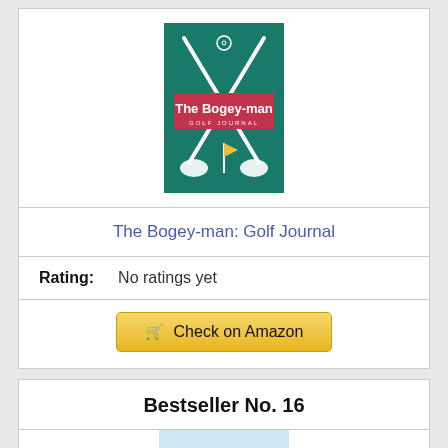[Figure (illustration): Book cover for 'The Bogey-man Golf Journal' — teal background with crossed golf clubs and a red banner with white title text]
The Bogey-man: Golf Journal
Rating: No ratings yet
🛒 Check on Amazon
Bestseller No. 16
[Figure (illustration): Partial book cover image visible at bottom of page showing green decorative lettering on a light sky background]